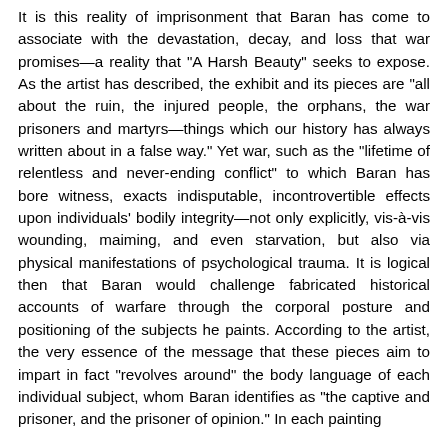It is this reality of imprisonment that Baran has come to associate with the devastation, decay, and loss that war promises—a reality that "A Harsh Beauty" seeks to expose. As the artist has described, the exhibit and its pieces are "all about the ruin, the injured people, the orphans, the war prisoners and martyrs—things which our history has always written about in a false way." Yet war, such as the "lifetime of relentless and never-ending conflict" to which Baran has bore witness, exacts indisputable, incontrovertible effects upon individuals' bodily integrity—not only explicitly, vis-à-vis wounding, maiming, and even starvation, but also via physical manifestations of psychological trauma. It is logical then that Baran would challenge fabricated historical accounts of warfare through the corporal posture and positioning of the subjects he paints. According to the artist, the very essence of the message that these pieces aim to impart in fact "revolves around" the body language of each individual subject, whom Baran identifies as "the captive and prisoner, and the prisoner of opinion." In each painting